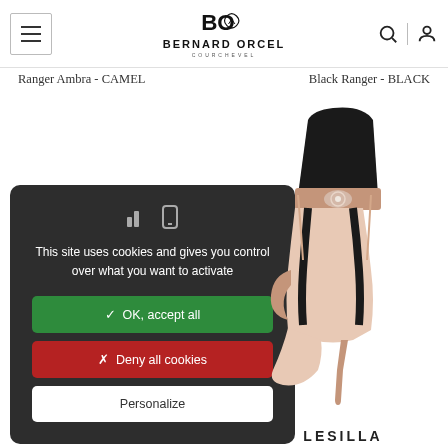Bernard Orcel - BERNARD ORCEL COURCHEVEL
Ranger Ambra - CAMEL
Black Ranger - BLACK
This site uses cookies and gives you control over what you want to activate
✓ OK, accept all
✗ Deny all cookies
Personalize
[Figure (photo): High-heel boot/shoe product photo - black and nude/blush colored stiletto ankle boot with jeweled ankle strap and sculptural heel]
LESILLA